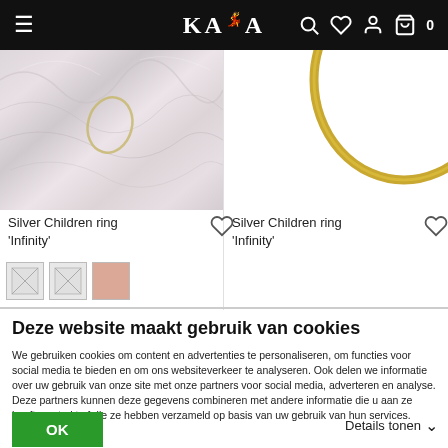KAYA - navigation bar with hamburger menu, logo, search, wishlist, account, cart (0)
[Figure (photo): Silver Children ring 'Infinity' product photo - pearl/silky white fabric background with thin gold ring]
Silver Children ring 'Infinity'
[Figure (photo): Silver Children ring 'Infinity' product photo - white background with gold thin ring]
Silver Children ring 'Infinity'
[Figure (other): Three color swatches: two broken image placeholders and one pink swatch]
Deze website maakt gebruik van cookies
We gebruiken cookies om content en advertenties te personaliseren, om functies voor social media te bieden en om ons websiteverkeer te analyseren. Ook delen we informatie over uw gebruik van onze site met onze partners voor social media, adverteren en analyse. Deze partners kunnen deze gegevens combineren met andere informatie die u aan ze heeft verstrekt of die ze hebben verzameld op basis van uw gebruik van hun services.
OK
Details tonen